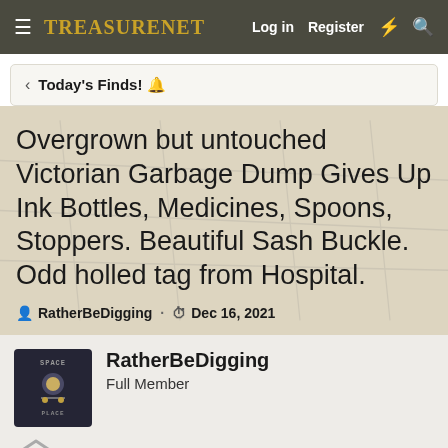TreasureNet  Log in  Register
Today's Finds! 🔔
Overgrown but untouched Victorian Garbage Dump Gives Up Ink Bottles, Medicines, Spoons, Stoppers. Beautiful Sash Buckle. Odd holled tag from Hospital.
RatherBeDigging · Dec 16, 2021
RatherBeDigging
Full Member
Dec 16, 2021  #1